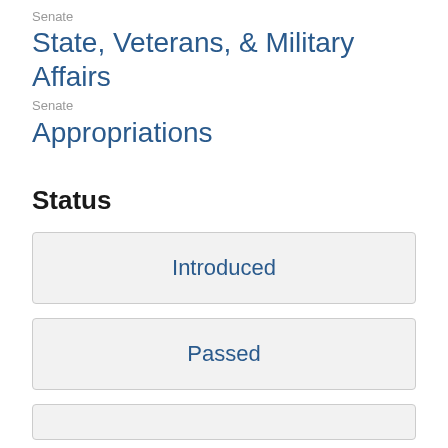Senate
State, Veterans, & Military Affairs
Senate
Appropriations
Status
Introduced
Passed